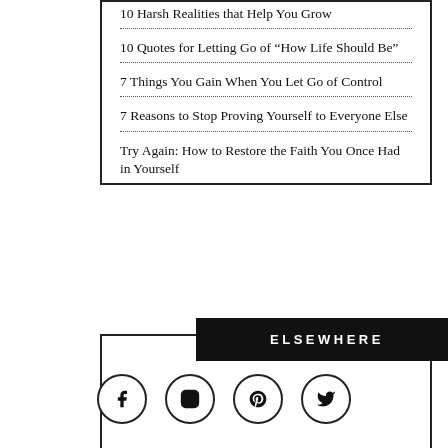10 Harsh Realities that Help You Grow
10 Quotes for Letting Go of “How Life Should Be”
7 Things You Gain When You Let Go of Control
7 Reasons to Stop Proving Yourself to Everyone Else
Try Again: How to Restore the Faith You Once Had in Yourself
ELSEWHERE
[Figure (infographic): Four social media icons in circles: Facebook (f), Instagram (camera), Pinterest (P), Twitter (bird)]